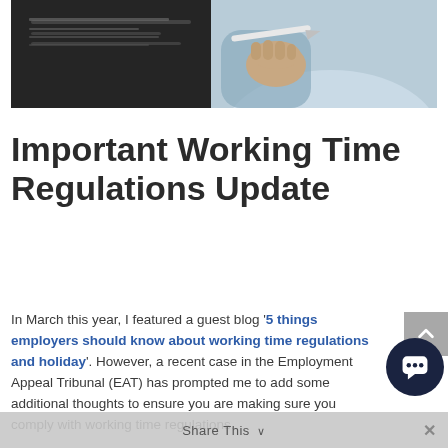[Figure (photo): Photograph of a person in a light blue shirt holding a pen, appearing to write or point at something, against a dark background. Upper portion of image is cropped.]
Important Working Time Regulations Update
In March this year, I featured a guest blog '5 things employers should know about working time regulations and holiday'. However, a recent case in the Employment Appeal Tribunal (EAT) has prompted me to add some additional thoughts to ensure you are making sure you comply with working time regulations.